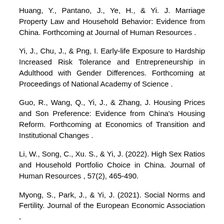Huang, Y., Pantano, J., Ye, H., & Yi. J. Marriage Property Law and Household Behavior: Evidence from China. Forthcoming at Journal of Human Resources .
Yi, J., Chu, J., & Png, I. Early-life Exposure to Hardship Increased Risk Tolerance and Entrepreneurship in Adulthood with Gender Differences. Forthcoming at Proceedings of National Academy of Science .
Guo, R., Wang, Q., Yi, J., & Zhang, J. Housing Prices and Son Preference: Evidence from China's Housing Reform. Forthcoming at Economics of Transition and Institutional Changes .
Li, W., Song, C., Xu. S., & Yi, J. (2022). High Sex Ratios and Household Portfolio Choice in China. Journal of Human Resources , 57(2), 465-490.
Myong, S., Park, J., & Yi, J. (2021). Social Norms and Fertility. Journal of the European Economic Association , 19(5), 2429-2466.